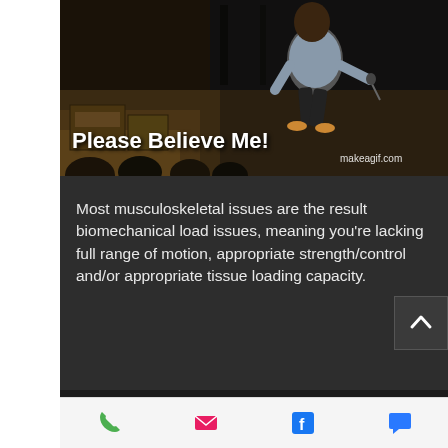[Figure (photo): A man (comedian/speaker) on a dark stage performing, with text overlay 'Please Believe Me!' and 'makeagif.com' watermark in the lower right corner]
Most musculoskeletal issues are the result biomechanical load issues, meaning you're lacking full range of motion, appropriate strength/control and/or appropriate tissue loading capacity.
Rest. Will. Not. Improve. ANY. Of. These. Variables.